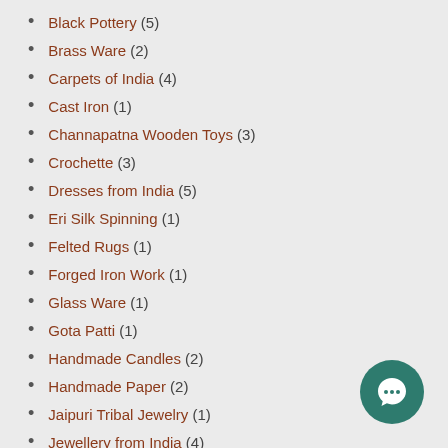Black Pottery (5)
Brass Ware (2)
Carpets of India (4)
Cast Iron (1)
Channapatna Wooden Toys (3)
Crochette (3)
Dresses from India (5)
Eri Silk Spinning (1)
Felted Rugs (1)
Forged Iron Work (1)
Glass Ware (1)
Gota Patti (1)
Handmade Candles (2)
Handmade Paper (2)
Jaipuri Tribal Jewelry (1)
Jewellery from India (4)